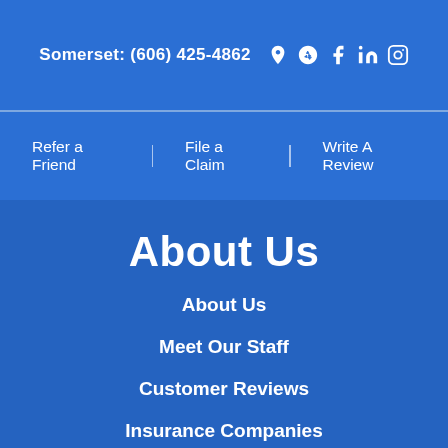Somerset: (606) 425-4862
Refer a Friend
File a Claim
Write A Review
About Us
About Us
Meet Our Staff
Customer Reviews
Insurance Companies